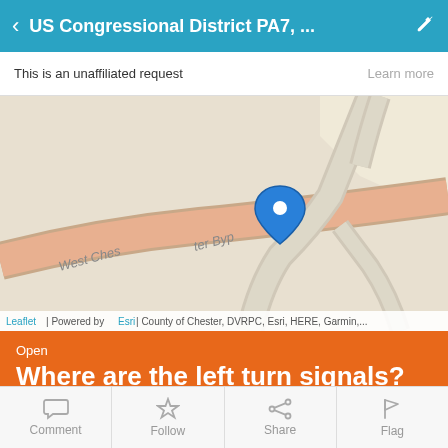US Congressional District PA7, ...
This is an unaffiliated request   Learn more
[Figure (map): Street map showing West Chester Bypass intersection with a blue location pin marker. Map credit: Leaflet | Powered by Esri | County of Chester, DVRPC, Esri, HERE, Garmin,...]
Open
Where are the left turn signals?
W Chester Bypass West Chester, PA 19380, USA
26  7
Comment  Follow  Share  Flag